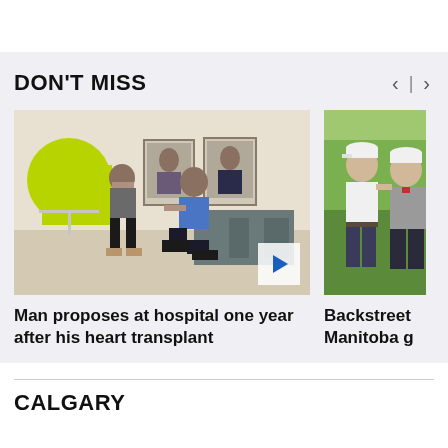DON'T MISS
[Figure (photo): Man proposing on one knee to a woman in a hospital lobby, a green circular banner visible in the background along with framed portraits on the wall. A blue play button overlay is in the bottom-right corner.]
Man proposes at hospital one year after his heart transplant
[Figure (photo): Two men in white caps and golf attire smiling outdoors with green trees behind them. Partial view.]
Backstreet
Manitoba g
CALGARY